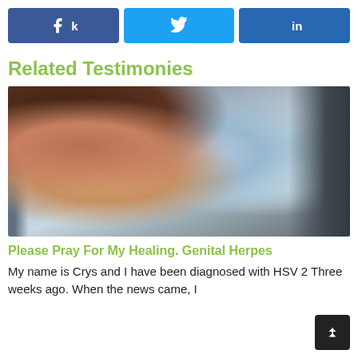[Figure (other): Three social share buttons: Facebook (blue, f icon), Twitter (light blue, bird icon), LinkedIn (dark blue, 'in' icon)]
Related Testimonies
[Figure (photo): A woman with her eyes closed and hands clasped in prayer, blurred urban background with bokeh lighting]
Please Pray For My Healing. Genital Herpes
My name is Crys and I have been diagnosed with HSV 2 Three weeks ago. When the news came, I